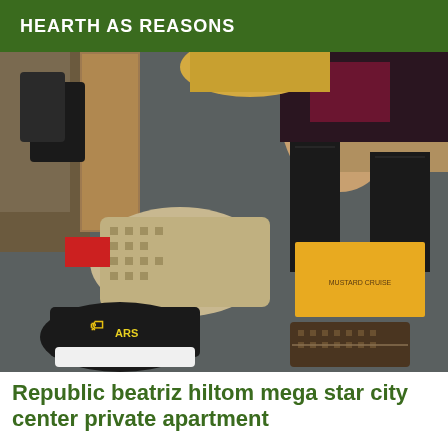HEARTH AS REASONS
[Figure (photo): A floor-level photo showing fashion items scattered on a dark carpet: luxury handbags, sneakers, a yellow Louis Vuitton box, a Louis Vuitton wallet/clutch, and a person's legs wearing black lace stockings and lingerie in the background.]
Republic beatriz hiltom mega star city center private apartment